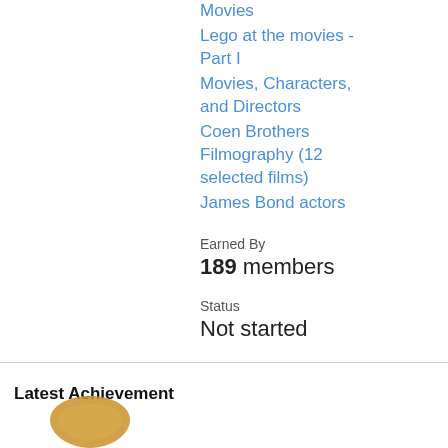Movies
Lego at the movies - Part I
Movies, Characters, and Directors
Coen Brothers Filmography (12 selected films)
James Bond actors
Earned By
189 members
Status
Not started
Latest Achievement